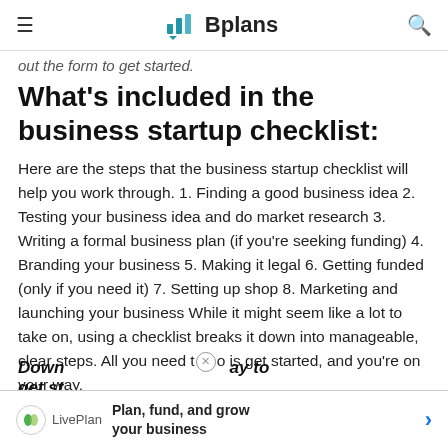≡  Bplans  🔍
out the form to get started.
What's included in the business startup checklist:
Here are the steps that the business startup checklist will help you work through. 1. Finding a good business idea 2. Testing your business idea and do market research 3. Writing a formal business plan (if you're seeking funding) 4. Branding your business 5. Making it legal 6. Getting funded (only if you need it) 7. Setting up shop 8. Marketing and launching your business While it might seem like a lot to take on, using a checklist breaks it down into manageable, clear steps. All you need to do is get started, and you're on your way.
Down... ay to get st...
[Figure (infographic): LivePlan ad banner at bottom: LivePlan logo, text 'Plan, fund, and grow your business', right arrow in blue]